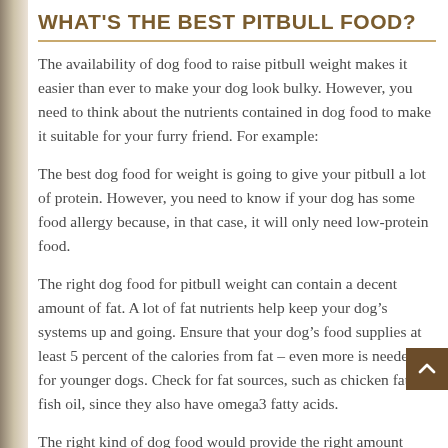WHAT'S THE BEST PITBULL FOOD?
The availability of dog food to raise pitbull weight makes it easier than ever to make your dog look bulky. However, you need to think about the nutrients contained in dog food to make it suitable for your furry friend. For example:
The best dog food for weight is going to give your pitbull a lot of protein. However, you need to know if your dog has some food allergy because, in that case, it will only need low-protein food.
The right dog food for pitbull weight can contain a decent amount of fat. A lot of fat nutrients help keep your dog’s systems up and going. Ensure that your dog’s food supplies at least 5 percent of the calories from fat – even more is needed for younger dogs. Check for fat sources, such as chicken fat and fish oil, since they also have omega3 fatty acids.
The right kind of dog food would provide the right amount